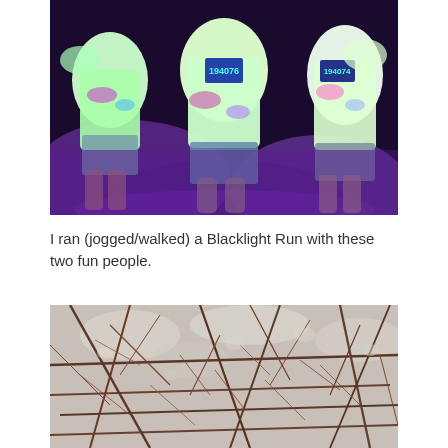[Figure (photo): Three people posing at a Blacklight Run event at night, wearing white t-shirts with race numbers glowing under UV/blacklight. Their clothes are covered with colorful fluorescent powder. Purple and pink UV lights illuminate the scene.]
I ran (jogged/walked) a Blacklight Run with these two fun people.
[Figure (photo): Close-up photo of bare tree branches against a pale sky, showing an intricate tangle of dark brown twigs in winter.]